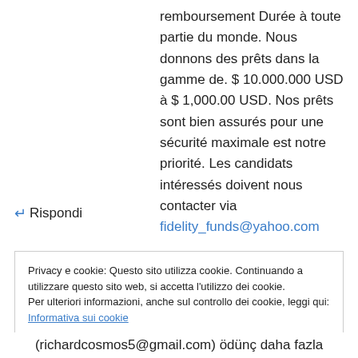remboursement Durée à toute partie du monde. Nous donnons des prêts dans la gamme de. $ 10.000.000 USD à $ 1,000.00 USD. Nos prêts sont bien assurés pour une sécurité maximale est notre priorité. Les candidats intéressés doivent nous contacter via fidelity_funds@yahoo.com
↵ Rispondi
Privacy e cookie: Questo sito utilizza cookie. Continuando a utilizzare questo sito web, si accetta l'utilizzo dei cookie.
Per ulteriori informazioni, anche sul controllo dei cookie, leggi qui:
Informativa sui cookie
Chiudi e accetta
(richardcosmos5@gmail.com) ödünç daha fazla